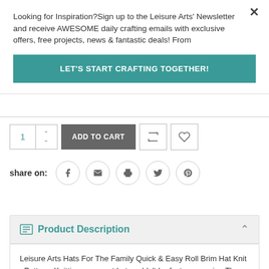Looking for Inspiration?Sign up to the Leisure Arts' Newsletter and receive AWESOME daily crafting emails with exclusive offers, free projects, news & fantastic deals! From
LET'S START CRAFTING TOGETHER!
ADD TO CART
share on:
Product Description
Leisure Arts Hats For The Family Quick & Easy Roll Brim Hat Knit ePattern- Knitting your next hat couldn't be faster or easier. The size 5 bulky weight yarn and US 8 knitting